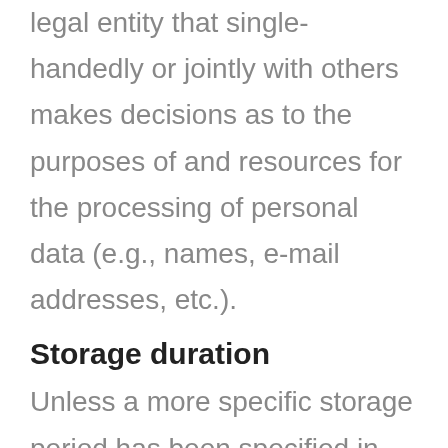legal entity that single-handedly or jointly with others makes decisions as to the purposes of and resources for the processing of personal data (e.g., names, e-mail addresses, etc.).
Storage duration
Unless a more specific storage period has been specified in this privacy policy, your personal data will remain with us until the purpose for which it was collected no longer applies. If you request justified erasure or deletion